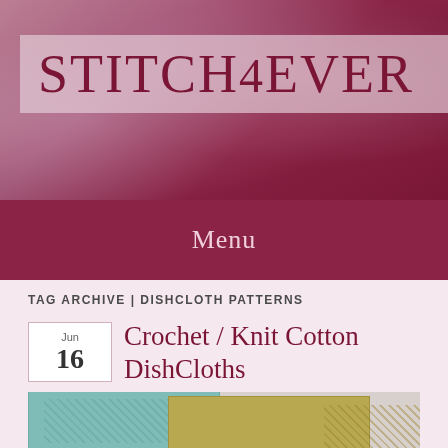STITCH4EVER
Menu
TAG ARCHIVE | DISHCLOTH PATTERNS
Crochet / Knit Cotton DishCloths
[Figure (photo): Two knitted/crocheted cotton dishcloths — one teal and one olive/gold — with a textured diamond pattern, laid on a white background]